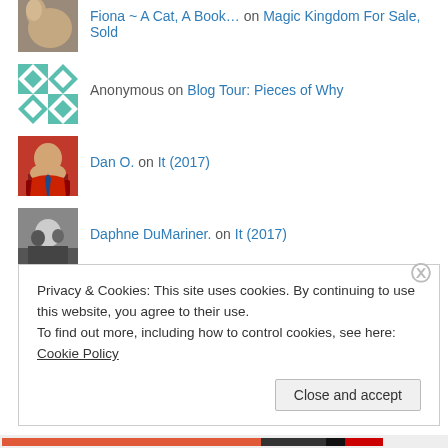Fiona ~ A Cat, A Book... on Magic Kingdom For Sale, Sold
Anonymous on Blog Tour: Pieces of Why
Dan O. on It (2017)
Daphne DuMariner. on It (2017)
Archives
Privacy & Cookies: This site uses cookies. By continuing to use this website, you agree to their use.
To find out more, including how to control cookies, see here: Cookie Policy